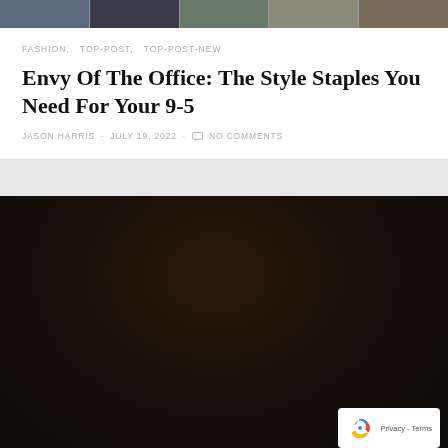[Figure (photo): Horizontal strip of fashion/lifestyle thumbnail images at the top of the page]
FASHION,  TOP-POST,  TOP-POST-NEW
Envy Of The Office: The Style Staples You Need For Your 9-5
JASON HARRIS · July 19, 2022 · No comments
[Figure (photo): Fashion runway photo of a female model wearing an oversized tan/camel leather shirt jacket with a printed scarf at the neck, dark background, runway setting]